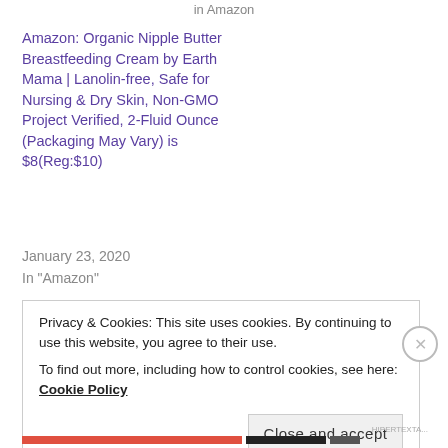in Amazon
Amazon: Organic Nipple Butter Breastfeeding Cream by Earth Mama | Lanolin-free, Safe for Nursing & Dry Skin, Non-GMO Project Verified, 2-Fluid Ounce (Packaging May Vary) is $8(Reg:$10)
January 23, 2020
In "Amazon"
Privacy & Cookies: This site uses cookies. By continuing to use this website, you agree to their use.
To find out more, including how to control cookies, see here: Cookie Policy
Close and accept